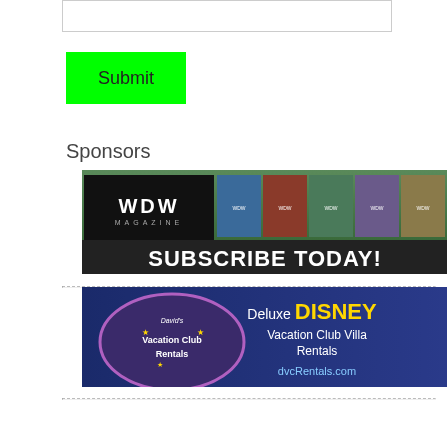[Figure (screenshot): White text input box / form field]
[Figure (screenshot): Green Submit button]
Sponsors
[Figure (illustration): WDW Magazine advertisement showing magazine covers and text SUBSCRIBE TODAY!]
[Figure (illustration): David's Vacation Club Rentals advertisement showing Deluxe DISNEY Vacation Club Villa Rentals dvcRentals.com]